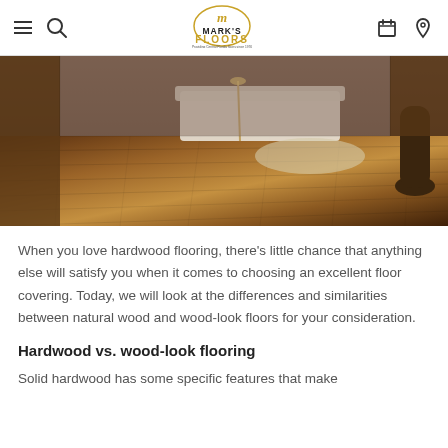Mark's Floors — Providing Central Florida floors since 1976
[Figure (photo): Interior room with rich warm-toned hardwood flooring, white sofa, floor lamp, small rug, and a large dark vase in the corner]
When you love hardwood flooring, there's little chance that anything else will satisfy you when it comes to choosing an excellent floor covering. Today, we will look at the differences and similarities between natural wood and wood-look floors for your consideration.
Hardwood vs. wood-look flooring
Solid hardwood has some specific features that make